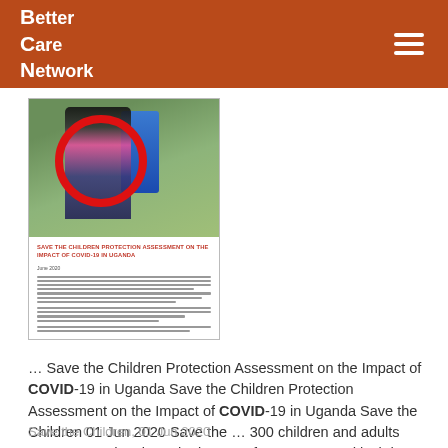Better Care Network
[Figure (photo): Thumbnail of a Save the Children report cover showing a child near a water barrel with a red circle overlay, on a green outdoor background. Report title: SAVE THE CHILDREN PROTECTION ASSESSMENT ON THE IMPACT OF COVID-19 IN UGANDA]
… Save the Children Protection Assessment on the Impact of COVID-19 in Uganda Save the Children Protection Assessment on the Impact of COVID-19 in Uganda Save the Children 01 Jun 2020 Save the … 300 children and adults across Uganda, about the impact of COVID-19 and lockdown measures on children's lives and …
Save the Children, 01 Jun 2020